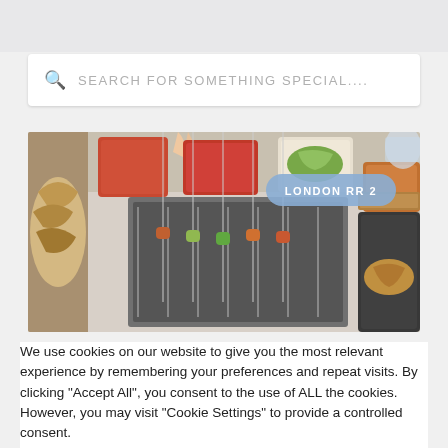[Figure (screenshot): Search bar with magnifying glass icon and placeholder text 'SEARCH FOR SOMETHING SPECIAL...']
[Figure (photo): Food photo showing various dishes, sauces, skewers on a grill, with a label 'LONDON RR 2' in a blue-grey rounded badge]
We use cookies on our website to give you the most relevant experience by remembering your preferences and repeat visits. By clicking "Accept All", you consent to the use of ALL the cookies. However, you may visit "Cookie Settings" to provide a controlled consent.
Cookie Settings | Accept All